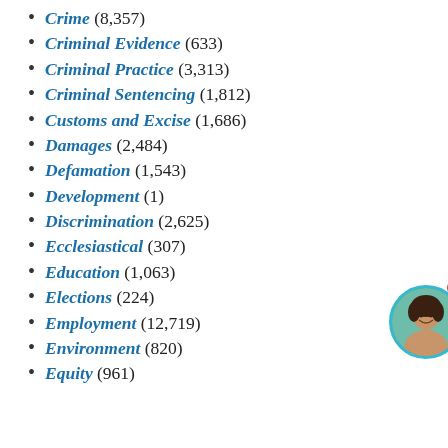Crime (8,357)
Criminal Evidence (633)
Criminal Practice (3,313)
Criminal Sentencing (1,812)
Customs and Excise (1,686)
Damages (2,484)
Defamation (1,543)
Development (1)
Discrimination (2,625)
Ecclesiastical (307)
Education (1,063)
Elections (224)
Employment (12,719)
Environment (820)
Equity (961)
[Figure (other): Chat widget overlay with avatar: 'Want to ask a Solicitor online now? I can connect you ...' with notification badge showing 1]
Extradition (1,583)
Family (2,883)